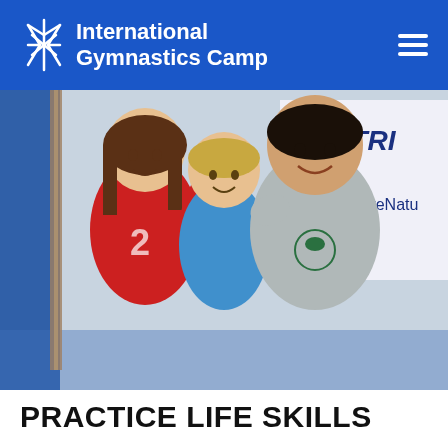International Gymnastics Camp
[Figure (photo): Three children smiling at the camera inside a gymnastics facility. The child on the left wears a red t-shirt with the number 2, the middle child wears a blue sleeveless shirt, and the child on the right wears a gray t-shirt with a green logo. A banner in the background reads 'NUTRI' and 'www.CompetitiveNatu'.]
PRACTICE LIFE SKILLS